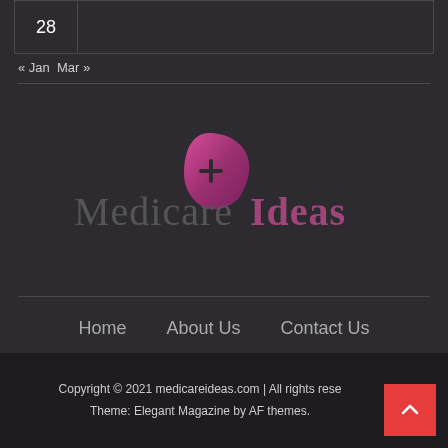| 28 |
| --- |
|  |
« Jan  Mar »
[Figure (logo): Medicare Ideas logo with a pink/purple leaf icon with a plus sign, and the text 'Medicare' in grey and 'Ideas' in purple/pink]
Home    About Us    Contact Us
Copyright © 2021 medicareideas.com | All rights reserved | Theme: Elegant Magazine by AF themes.